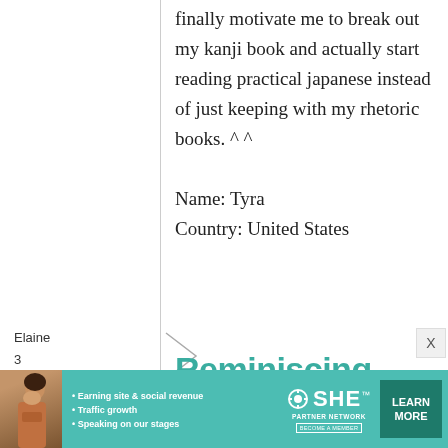finally motivate me to break out my kanji book and actually start reading practical japanese instead of just keeping with my rhetoric books. ^ ^
Name: Tyra
Country: United States
Elaine
3
Reminiscing
[Figure (other): Advertisement banner for SHE Partner Network featuring a woman photo, bullet points about earning site & social revenue, traffic growth, speaking on stages, SHE logo, and a LEARN MORE button]